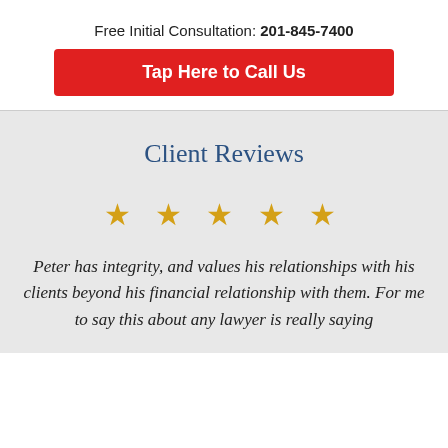Free Initial Consultation: 201-845-7400
Tap Here to Call Us
Client Reviews
[Figure (other): Five gold stars rating]
Peter has integrity, and values his relationships with his clients beyond his financial relationship with them. For me to say this about any lawyer is really saying